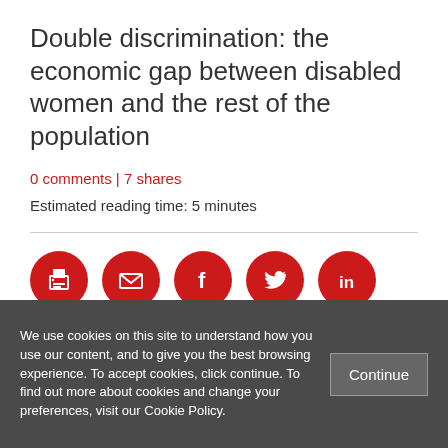Double discrimination: the economic gap between disabled women and the rest of the population
0 comments | 7 shares
Estimated reading time: 5 minutes
[Figure (infographic): Social sharing buttons: print, email, Facebook, Twitter, LinkedIn]
We use cookies on this site to understand how you use our content, and to give you the best browsing experience. To accept cookies, click continue. To find out more about cookies and change your preferences, visit our Cookie Policy.